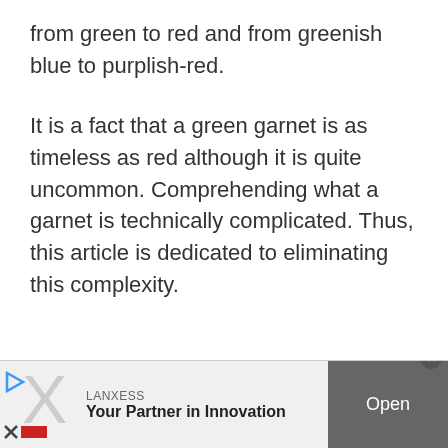from green to red and from greenish blue to purplish-red.
It is a fact that a green garnet is as timeless as red although it is quite uncommon. Comprehending what a garnet is technically complicated. Thus, this article is dedicated to eliminating this complexity.
[Figure (other): Advertisement banner for LANXESS: 'Your Partner in Innovation' with an Open button and a large grey X logo.]